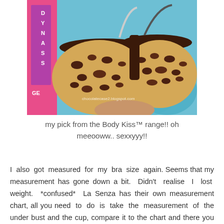[Figure (photo): Photo of a leopard print bra with dark brown lace trim displayed against a teal/blue background in a retail setting. Watermark reads: chocolatecase2.blogspot.com]
my pick from the Body Kiss™ range!! oh meeooww.. sexxyyy!!
I also got measured for my bra size again. Seems that my measurement has gone down a bit. Didn't realise I lost weight. *confused* La Senza has their own measurement chart, all you need to do is take the measurement of the under bust and the cup, compare it to the chart and there you have it, your perfect size! It does